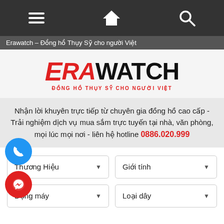[Figure (screenshot): Top navigation bar with hamburger menu, home icon, and search icon on dark background]
Erawatch – Đồng hồ Thụy Sỹ cho người Việt
[Figure (logo): Erawatch logo with red italic E and RA, black WATCH text, red tagline ĐONG HO THUY SY CHO NGUOI VIET]
Nhận lời khuyên trực tiếp từ chuyên gia đồng hồ cao cấp - Trải nghiệm dịch vụ mua sắm trực tuyến tại nhà, văn phòng, mọi lúc mọi nơi - liên hệ hotline 0886.020.999
Thương Hiệu ▼
Giới tính ▼
Động máy ▼
Loại dây ▼